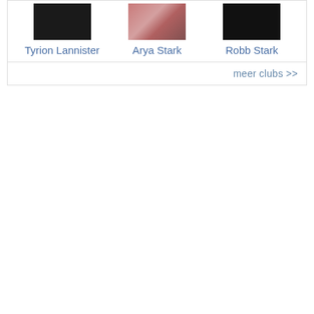[Figure (photo): Thumbnail image of Tyrion Lannister character]
Tyrion Lannister
[Figure (photo): Thumbnail image of Arya Stark character]
Arya Stark
[Figure (photo): Thumbnail image of Robb Stark character]
Robb Stark
meer clubs >>